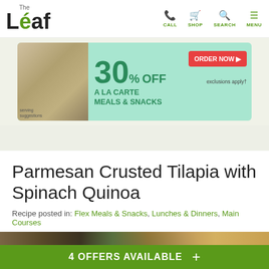The Leaf — CALL SHOP SEARCH MENU
[Figure (infographic): Advertisement banner for Nutrisystem: 30% OFF A LA CARTE MEALS & SNACKS, ORDER NOW, exclusions apply]
Parmesan Crusted Tilapia with Spinach Quinoa
Recipe posted in: Flex Meals & Snacks, Lunches & Dinners, Main Courses
[Figure (photo): Photo of parmesan crusted tilapia fish fillet with garnish on a brown background]
4 OFFERS AVAILABLE +